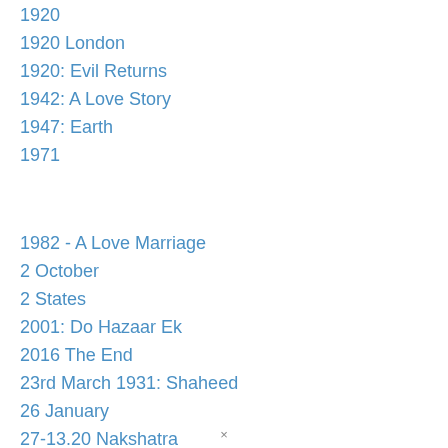1920
1920 London
1920: Evil Returns
1942: A Love Story
1947: Earth
1971
1982 - A Love Marriage
2 October
2 States
2001: Do Hazaar Ek
2016 The End
23rd March 1931: Shaheed
26 January
27-13.20 Nakshatra
×